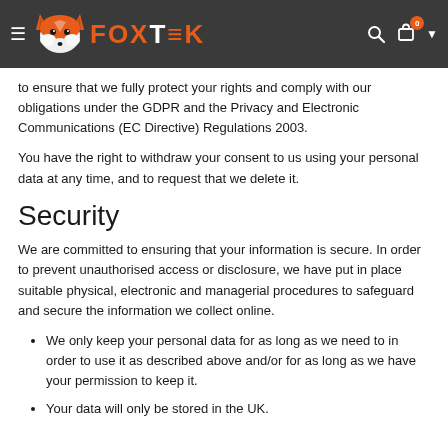FOXTEK
to ensure that we fully protect your rights and comply with our obligations under the GDPR and the Privacy and Electronic Communications (EC Directive) Regulations 2003.
You have the right to withdraw your consent to us using your personal data at any time, and to request that we delete it.
Security
We are committed to ensuring that your information is secure. In order to prevent unauthorised access or disclosure, we have put in place suitable physical, electronic and managerial procedures to safeguard and secure the information we collect online.
We only keep your personal data for as long as we need to in order to use it as described above and/or for as long as we have your permission to keep it.
Your data will only be stored in the UK.